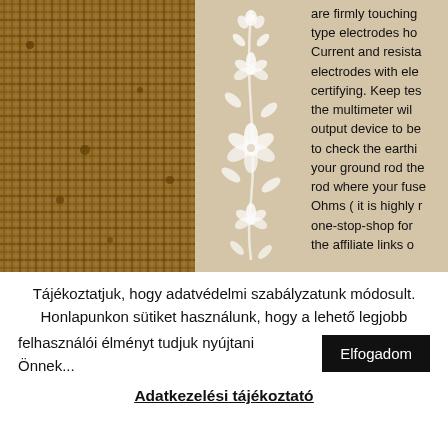[Figure (photo): Close-up photo of burlap/woven fabric texture in brown tones on the left side]
[Figure (illustration): Decorative white floral vine illustration on beige/tan background in the center column]
are firmly touching type electrodes ho... Current and resista... electrodes with ele... certifying. Keep tes... the multimeter wil... output device to be... to check the earthi... your ground rod the... rod where your fuse... Ohms ( it is highly r... one-stop-shop for ... the affiliate links o...
Tájékoztatjuk, hogy adatvédelmi szabályzatunk módosult. Honlapunkon sütiket használunk, hogy a lehető legjobb felhasználói élményt tudjuk nyújtani Önnek...
Elfogadom
Adatkezelési tájékoztató